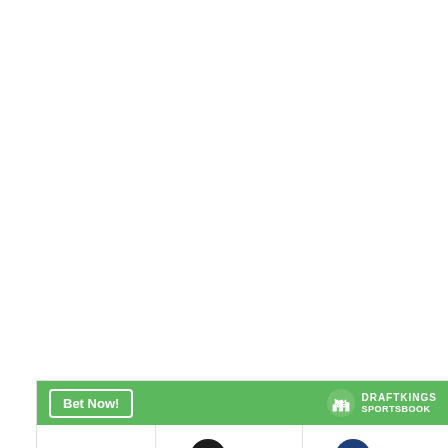[Figure (infographic): DraftKings Sportsbook betting widget showing MIA vs LAD matchup at 2:10a. Spread: MIA +1.5 (+110), LAD -1.5 (-130). Money Line: MIA +220, LAD -260. Over/Under: Over >8 (-110), Under <8 (-110).]
|  | MIA | LAD |
| --- | --- | --- |
| SPREAD | +1.5 (+110) | -1.5 (-130) |
| MONEY LINE | +220 | -260 |
| OVER UNDER | > 8 (-110) | < 8 (-110) |